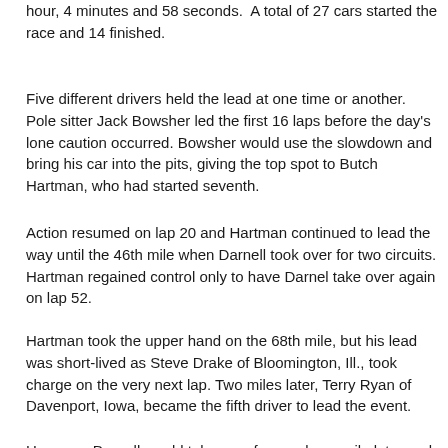hour, 4 minutes and 58 seconds.  A total of 27 cars started the race and 14 finished.
Five different drivers held the lead at one time or another. Pole sitter Jack Bowsher led the first 16 laps before the day's lone caution occurred. Bowsher would use the slowdown and bring his car into the pits, giving the top spot to Butch Hartman, who had started seventh.
Action resumed on lap 20 and Hartman continued to lead the way until the 46th mile when Darnell took over for two circuits. Hartman regained control only to have Darnel take over again on lap 52.
Hartman took the upper hand on the 68th mile, but his lead was short-lived as Steve Drake of Bloomington, Ill., took charge on the very next lap. Two miles later, Terry Ryan of Davenport, Iowa, became the fifth driver to lead the event.
However, Darnell would take over for good one mile later and went on to take his second career USAC stock car victory. Don White would finish second, followed by Paul